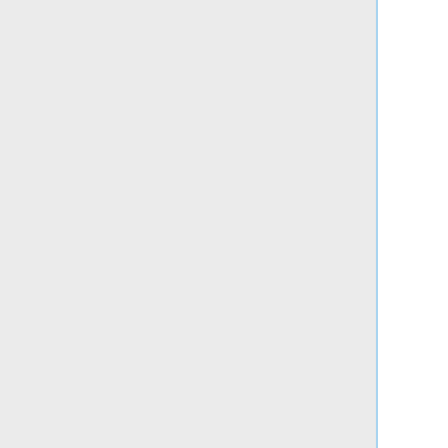a smart enough printer can be hacked. (Consider [http://en.wikipedia.org/wiki/Stuxnet StuxNet] which was able to rewrite the firmware of non-computer devices indirectly connected to the Internet) If this concerns you, use a "dumb" printer, and never let your printer have access to the Internet or to an Internet-